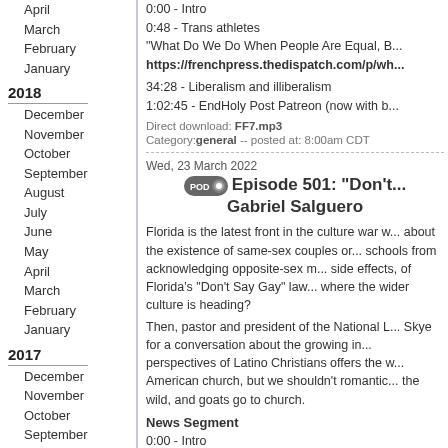April
March
February
January
2018
December
November
October
September
August
July
June
May
April
March
February
January
2017
December
November
October
September
August
July
June
May
April
March
February
January
0:00 - Intro
0:48 - Trans athletes
"What Do We Do When People Are Equal, B...
https://frenchpress.thedispatch.com/p/wh...
34:28 - Liberalism and illiberalism
1:02:45 - EndHoly Post Patreon (now with b...
Direct download: FF7.mp3
Category: general -- posted at: 8:00am CDT
Wed, 23 March 2022
Episode 501: "Don't... Gabriel Salguero
Florida is the latest front in the culture war w... about the existence of same-sex couples or... schools from acknowledging opposite-sex m... side effects, of Florida's "Don't Say Gay" law... where the wider culture is heading?
Then, pastor and president of the National L... Skye for a conversation about the growing in... perspectives of Latino Christians offers the w... American church, but we shouldn't romantic... the wild, and goats go to church.
News Segment
0:00 - Intro
5:21 - Animal News
https://www.al.com/news/2022/03/baaaaa...
7:52 - An example of Christian nationalism
https://www.christianpost.com/voices/is-...